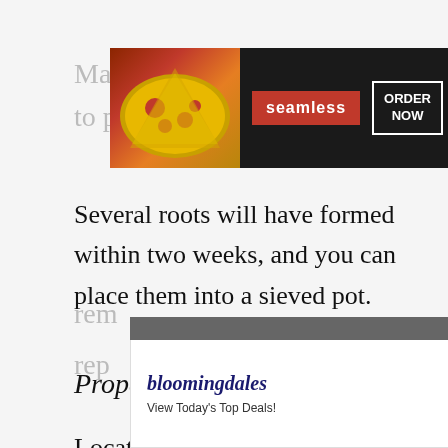Mak... rly to p...
[Figure (screenshot): Seamless food delivery advertisement banner showing pizza image, seamless logo in red, and ORDER NOW button in white border]
Several roots will have formed within two weeks, and you can place them into a sieved pot.
[Figure (screenshot): Black video player overlay with close X button]
Propagation by divi...
Locate plantlets that form at the base of the plant. The plantlet should be rem... rep...
[Figure (screenshot): Bloomingdales advertisement banner showing woman in hat, View Today's Top Deals text, and SHOP NOW button with CLOSE bar above]